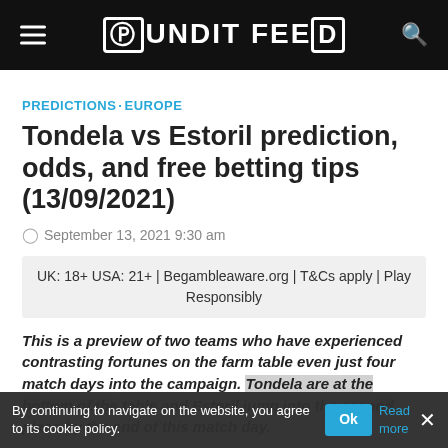Pundit Feed
PREDICTIONS · EUROPE
Tondela vs Estoril prediction, odds, and free betting tips (13/09/2021)
September 13, 2021 9:30 am
UK: 18+ USA: 21+ | Begambleaware.org | T&Cs apply | Play Responsibly
This is a preview of two teams who have experienced contrasting fortunes on the farm table even just four match days into the campaign. Tondela are at the bottom of the table and Estoril jump into the second place by the end of this match day.
By continuing to navigate on the website, you agree to its cookie policy.